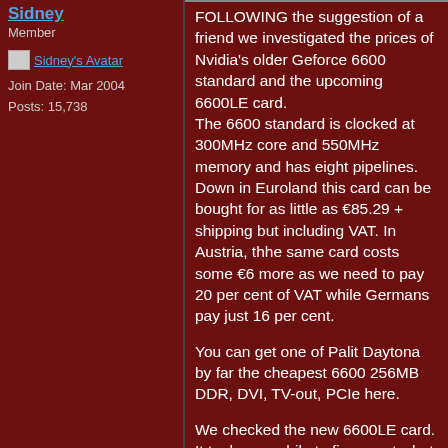Sidney
Member
[Figure (other): Sidney's Avatar - small image placeholder with link]
Join Date: Mar 2004
Posts: 15,738
FOLLOWING the suggestion of a friend we investigated the prices of Nvidia's older Geforce 6600 standard and the upcoming 6600LE card. The 6600 standard is clocked at 300MHz core and 550MHz memory and has eight pipelines. Down in Euroland this card can be bought for as little as €85.29 + shipping but including VAT. In Austria, thhe same card costs some €6 more as we need to pay 20 per cent of VAT while Germans pay just 16 per cent.
You can get one of Palit Daytona by far the cheapest 6600 256MB DDR, DVI, TV-out, PCIe here.
We checked the new 6600LE card. It took us a while to figure out what is the point of this cheap and affordable SLI card. It should be available in the next few days but will not be as cheap as we expected. It turns out that MSI will have some of these cards ready featuring 256MB DDR and a DVI. This card has 300 MHz core and 500 MHz memory but only half of the pipelines, it has totally four pipelines. The guys at